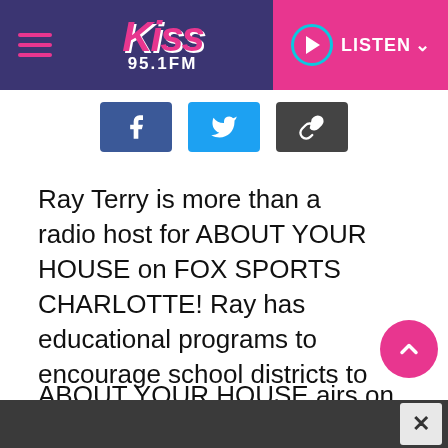[Figure (logo): Kiss 95.1 FM radio station logo with hamburger menu and LISTEN button in purple header bar]
[Figure (infographic): Social share buttons: Facebook (blue), Twitter (light blue), and link/copy (dark gray)]
Ray Terry is more than a radio host for ABOUT YOUR HOUSE on FOX SPORTS CHARLOTTE! Ray has educational programs to encourage school districts to put tools in schools. He's been speaking on stages and ladders to help us around the house to fix things, plant things and get innovative and creative.
ABOUT YOUR HOUSE airs on WBCN
[Figure (other): Pink scroll-to-top arrow button]
Advertisement close button (X)